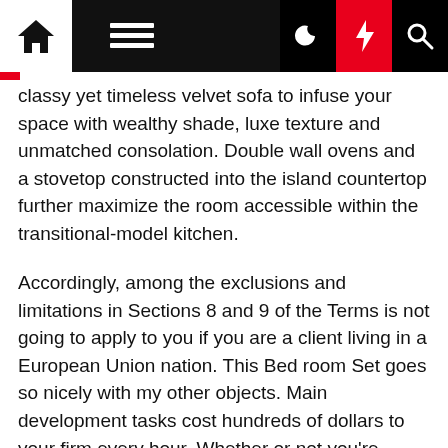Navigation bar with home, hamburger menu, moon, flash, and search icons
classy yet timeless velvet sofa to infuse your space with wealthy shade, luxe texture and unmatched consolation. Double wall ovens and a stovetop constructed into the island countertop further maximize the room accessible within the transitional-model kitchen.
Accordingly, among the exclusions and limitations in Sections 8 and 9 of the Terms is not going to apply to you if you are a client living in a European Union nation. This Bed room Set goes so nicely with my other objects. Main development tasks cost hundreds of dollars to your firm every hour. Whether or not you're looking to create a soothing living room with plenty of storage to cover your clutter, or need recommendations on how you can renew with simple type updates, you'll find plenty of ideas at